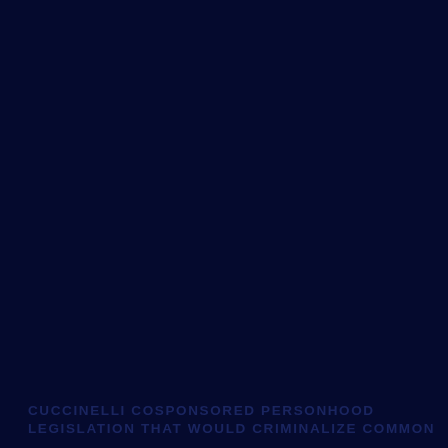CUCCINELLI COSPONSORED PERSONHOOD LEGISLATION THAT WOULD CRIMINALIZE COMMON